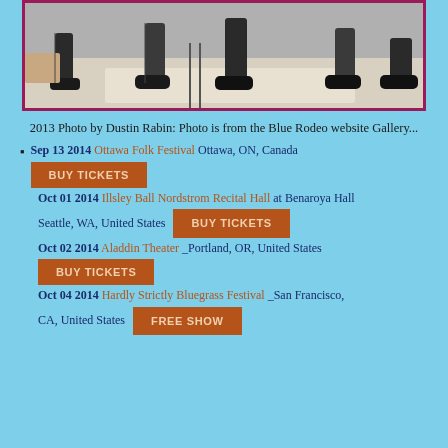[Figure (photo): Black and white/color photo of people (band members) with legs and feet visible, seated in an indoor setting with a rug, bordered by a pink/magenta frame.]
2013 Photo by Dustin Rabin: Photo is from the Blue Rodeo website Gallery...
Sep 13 2014 Ottawa Folk Festival Ottawa, ON, Canada BUY TICKETS
Oct 01 2014 Illsley Ball Nordstrom Recital Hall at Benaroya Hall Seattle, WA, United States BUY TICKETS
Oct 02 2014 Aladdin Theater _Portland, OR, United States BUY TICKETS
Oct 04 2014 Hardly Strictly Bluegrass Festival _San Francisco, CA, United States FREE SHOW